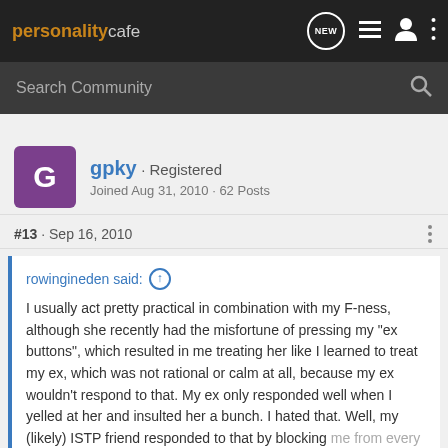personalitycafe · NEW [icons]
Search Community
gpky · Registered
Joined Aug 31, 2010 · 62 Posts
#13 · Sep 16, 2010
rowingineden said:
I usually act pretty practical in combination with my F-ness, although she recently had the misfortune of pressing my "ex buttons", which resulted in me treating her like I learned to treat my ex, which was not rational or calm at all, because my ex wouldn't respond to that. My ex only responded well when I yelled at her and insulted her a bunch. I hated that. Well, my (likely) ISTP friend responded to that by blocking me from every communication medium known to man. But then when
Click to expand...